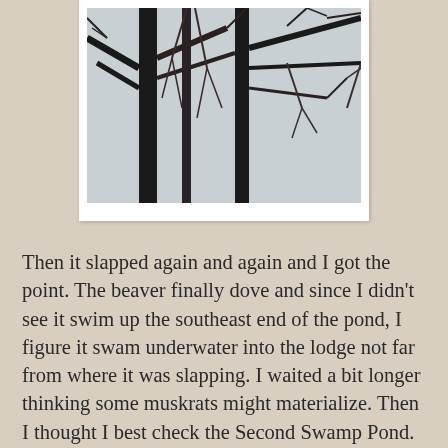[Figure (photo): Photograph of bare tree branches against a pale grey sky, mounted with a white border like a polaroid or printed photo.]
Then it slapped again and again and I got the point. The beaver finally dove and since I didn't see it swim up the southeast end of the pond, I figure it swam underwater into the lodge not far from where it was slapping. I waited a bit longer thinking some muskrats might materialize. Then I thought I best check the Second Swamp Pond. As I left my rock perch above the mossy cove and walked below another osprey perch, ferns sprayed white with poop.